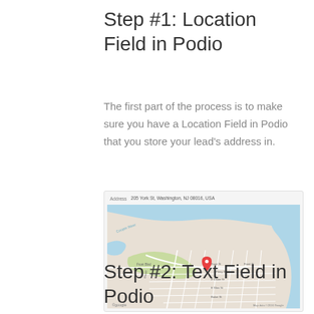Step #1: Location Field in Podio
The first part of the process is to make sure you have a Location Field in Podio that you store your lead's address in.
[Figure (screenshot): Screenshot of a Podio address field showing a Google Maps view of a location in Washington, NJ with a red map pin marker.]
Step #2: Text Field in Podio